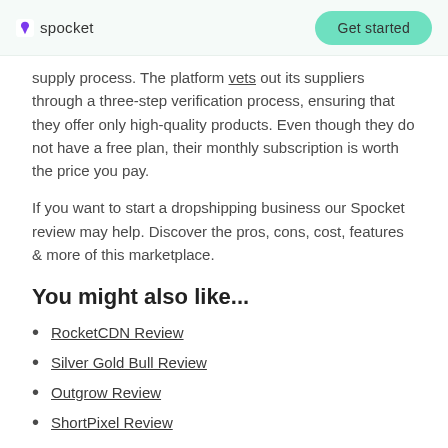spocket | Get started
supply process. The platform vets out its suppliers through a three-step verification process, ensuring that they offer only high-quality products. Even though they do not have a free plan, their monthly subscription is worth the price you pay.
If you want to start a dropshipping business our Spocket review may help. Discover the pros, cons, cost, features & more of this marketplace.
You might also like...
RocketCDN Review
Silver Gold Bull Review
Outgrow Review
ShortPixel Review